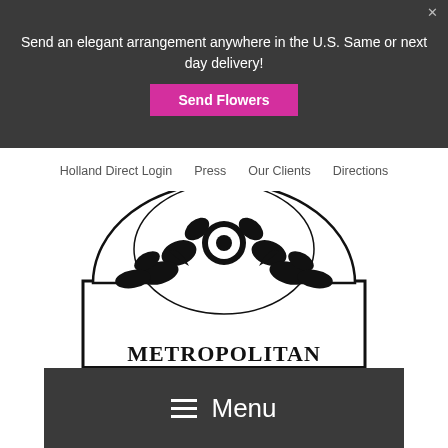Send an elegant arrangement anywhere in the U.S. Same or next day delivery!
[Figure (other): Send Flowers button - pink/magenta button]
Holland Direct Login   Press   Our Clients   Directions
[Figure (logo): Metropolitan Wholesale logo - black and white semicircular floral design with text METROPOLITAN WHOLESALE]
☰ Menu
Posted on December 11, 2013 by Metropolitan Wholesale
0 Comments